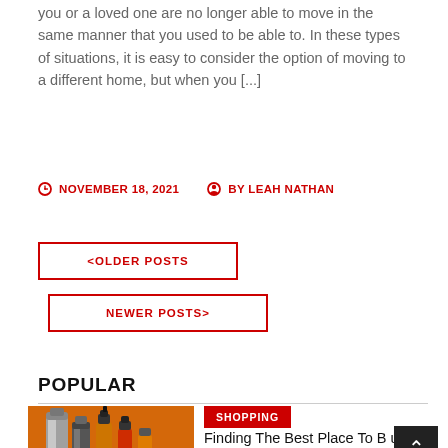you or a loved one are no longer able to move in the same manner that you used to be able to. In these types of situations, it is easy to consider the option of moving to a different home, but when you [...]
NOVEMBER 18, 2021   BY LEAH NATHAN
<OLDER POSTS
NEWER POSTS>
POPULAR
[Figure (photo): Photo of vaping supplies including metal vape device and amber liquid bottles on a reflective surface]
SHOPPING
Finding The Best Place To Buy All Your Vaping Supplies
JULY 30, 2022